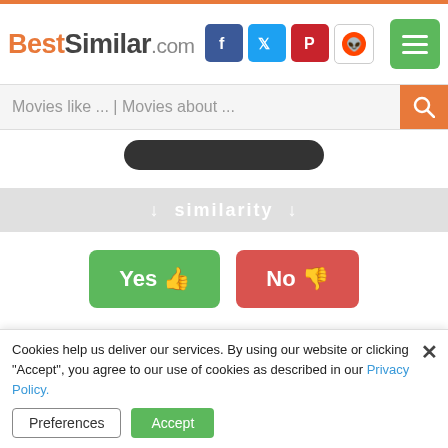BestSimilar.com
Movies like ... | Movies about ...
↓ similarity ↓
Yes 👍
No 👎
95%
The Mexican (2001)
6.1
Cookies help us deliver our services. By using our website or clicking "Accept", you agree to our use of cookies as described in our Privacy Policy.
Preferences
Accept